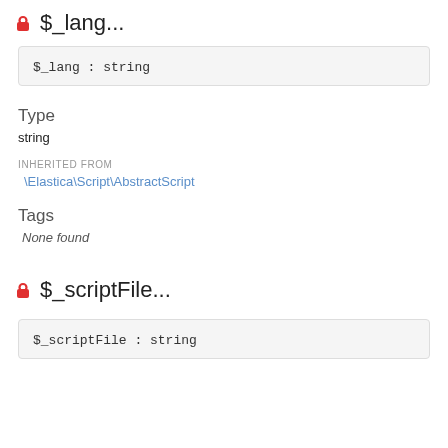$_lang...
$_lang : string
Type
string
INHERITED FROM
\Elastica\Script\AbstractScript
Tags
None found
$_scriptFile...
$_scriptFile : string